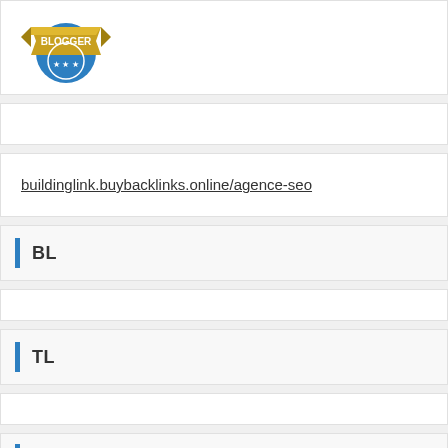[Figure (logo): Blogger badge logo with gold ribbon banner at top reading BLOGGER and blue circular emblem with stars]
buildinglink.buybacklinks.online/agence-seo
BL
TL
YOU MAY HAVE MISSED
[Figure (other): Dark grey background area with blue scroll-to-top button with upward chevron arrow in bottom right corner]